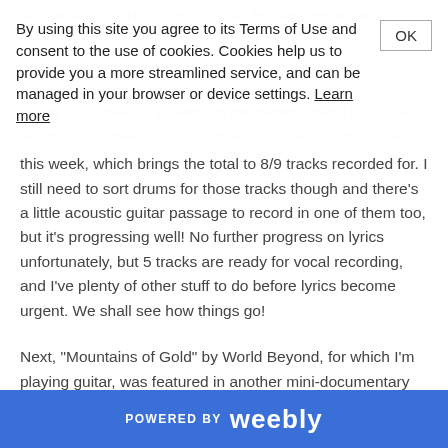be a little busy. Not a lot to share, but lets get started.

Firstly, a couple of updates on the Better Than The Book Album. I recorded Bass and Electric Guitar for more tracks this week, which brings the total to 8/9 tracks recorded for. I still need to sort drums for those tracks though and there's a little acoustic guitar passage to record in one of them too, but it's progressing well! No further progress on lyrics unfortunately, but 5 tracks are ready for vocal recording, and I've plenty of other stuff to do before lyrics become urgent. We shall see how things go!

Next, "Mountains of Gold" by World Beyond, for which I'm playing guitar, was featured in another mini-documentary video. You can check it out below if you wish. It's got an eagle statue, so that's always cool :D
By using this site you agree to its Terms of Use and consent to the use of cookies. Cookies help us to provide you a more streamlined service, and can be managed in your browser or device settings. Learn more
POWERED BY weebly